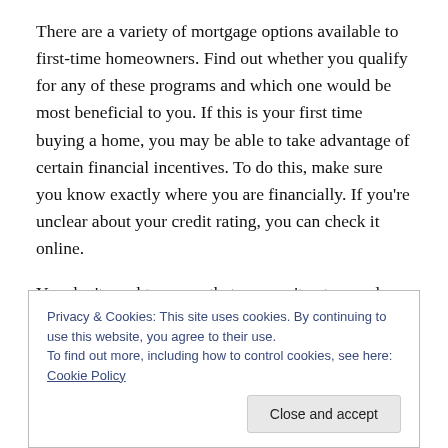There are a variety of mortgage options available to first-time homeowners. Find out whether you qualify for any of these programs and which one would be most beneficial to you. If this is your first time buying a home, you may be able to take advantage of certain financial incentives. To do this, make sure you know exactly where you are financially. If you're unclear about your credit rating, you can check it online.
You don't need to worry that you can't get a good deal if you aren't a first-time buyer. If you already have a
Privacy & Cookies: This site uses cookies. By continuing to use this website, you agree to their use.
To find out more, including how to control cookies, see here: Cookie Policy